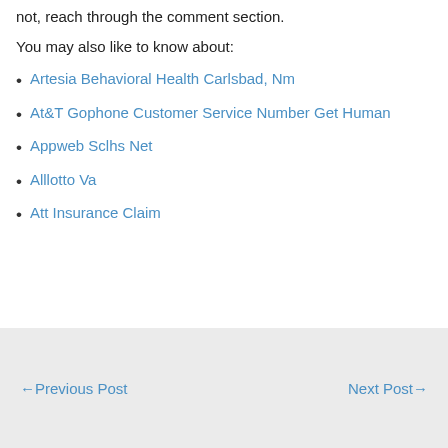not, reach through the comment section.
You may also like to know about:
Artesia Behavioral Health Carlsbad, Nm
At&T Gophone Customer Service Number Get Human
Appweb Sclhs Net
Alllotto Va
Att Insurance Claim
←Previous Post   Next Post→